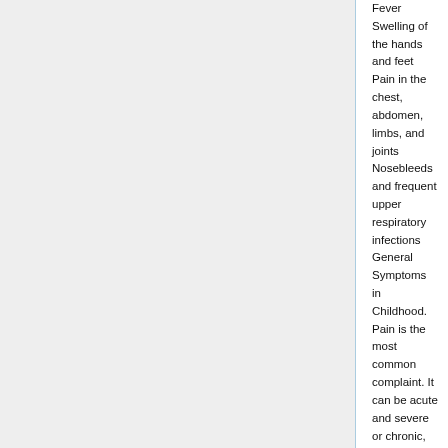Fever Swelling of the hands and feet Pain in the chest, abdomen, limbs, and joints Nosebleeds and frequent upper respiratory infections General Symptoms in Childhood. Pain is the most common complaint. It can be acute and severe or chronic, usually from orthopedic problems in the legs and low back. Other symptoms include:
Anemia Fatigue Irritability Jaundice (yellowish discoloration of the skin and eyes) Bedwetting Additional Symptoms in Adolescence or Adulthood. Symptoms of childhood continue in adolescence and adulthood. In addition, patients may experience:
Delayed puberty (in young teenagers) Severe joint pain Progressive anemia Leg sores Gum disease Sickle Cell Crisis.